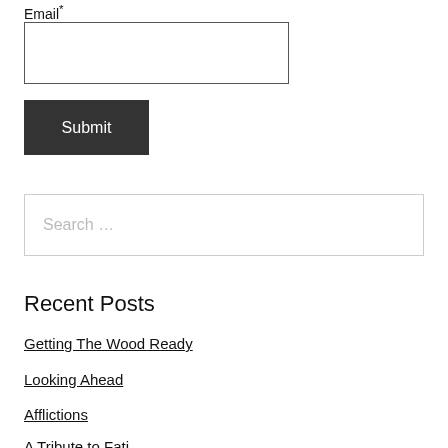Email*
[Figure (other): Email input text field with border]
[Figure (other): Submit button, dark background with white text]
[Figure (other): Search input field with placeholder text 'Search ...']
Recent Posts
Getting The Wood Ready
Looking Ahead
Afflictions
A Tribute to Fati...